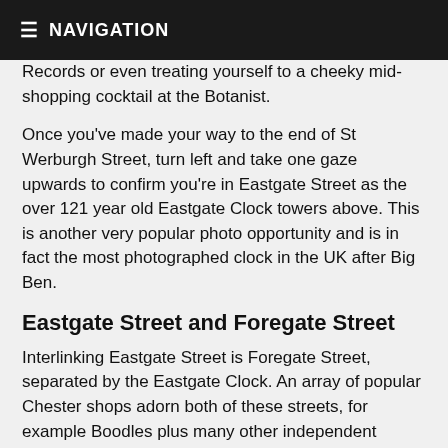≡ NAVIGATION
Records or even treating yourself to a cheeky mid-shopping cocktail at the Botanist.
Once you've made your way to the end of St Werburgh Street, turn left and take one gaze upwards to confirm you're in Eastgate Street as the over 121 year old Eastgate Clock towers above. This is another very popular photo opportunity and is in fact the most photographed clock in the UK after Big Ben.
Eastgate Street and Foregate Street
Interlinking Eastgate Street is Foregate Street, separated by the Eastgate Clock. An array of popular Chester shops adorn both of these streets, for example Boodles plus many other independent jewellers, Flannels and local award winning fashion designer Matthew O'Brien alongside Jo Malone and the independent Tea Islands specialist tea and coffee merchant and your high street staples of M&S, WHSmith, Primark, JD Sports